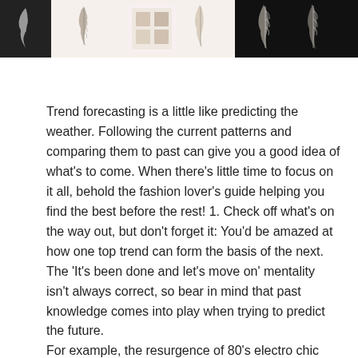[Figure (photo): A cropped photo strip at the top of the page showing fashion/art items including feather illustrations, decorative objects on a light background with some dark-bordered elements.]
Trend forecasting is a little like predicting the weather. Following the current patterns and comparing them to past can give you a good idea of what's to come. When there's little time to focus on it all, behold the fashion lover's guide helping you find the best before the rest! 1. Check off what's on the way out, but don't forget it: You'd be amazed at how one top trend can form the basis of the next. The 'It's been done and let's move on' mentality isn't always correct, so bear in mind that past knowledge comes into play when trying to predict the future.
For example, the resurgence of 80's electro chic has